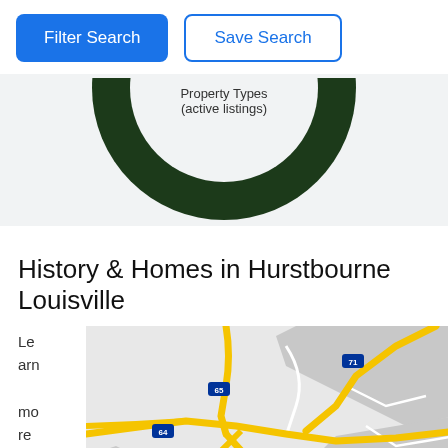Filter Search | Save Search
[Figure (donut-chart): Partial donut chart (bottom half visible) with dark green ring. Center label reads 'Property Types (active listings)'. The top of the chart is cut off.]
History & Homes in Hurstbourne Louisville
Learn more
[Figure (map): Street map showing Hurstbourne Louisville area with yellow highway routes, gray urban areas, white local roads, and a red location marker. Interstate shields visible for I-71, I-65, I-64.]